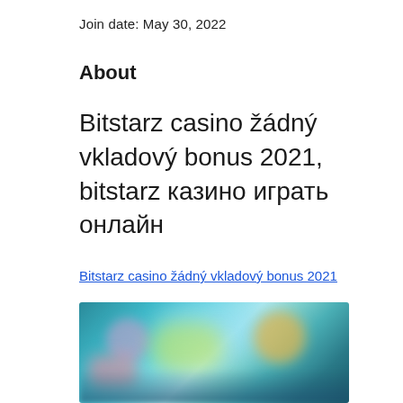Join date: May 30, 2022
About
Bitstarz casino žádný vkladový bonus 2021, bitstarz казино играть онлайн
Bitstarz casino žádný vkladový bonus 2021
[Figure (photo): Blurred screenshot of Bitstarz casino game interface with colorful characters and teal/blue background]